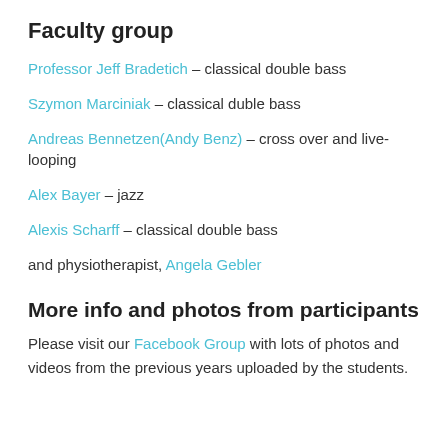Faculty group
Professor Jeff Bradetich – classical double bass
Szymon Marciniak – classical duble bass
Andreas Bennetzen(Andy Benz) – cross over and live-looping
Alex Bayer – jazz
Alexis Scharff – classical double bass
and physiotherapist, Angela Gebler
More info and photos from participants
Please visit our Facebook Group with lots of photos and videos from the previous years uploaded by the students.